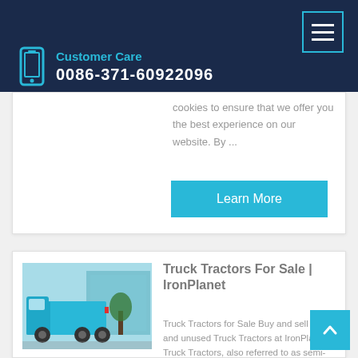Customer Care 0086-371-60922096
cookies to ensure that we offer you the best experience on our website. By ...
Learn More
Truck Tractors For Sale | IronPlanet
Truck Tractors for Sale Buy and sell used and unused Truck Tractors at IronPlanet. Truck Tractors, also referred to as semi-trucks and on-